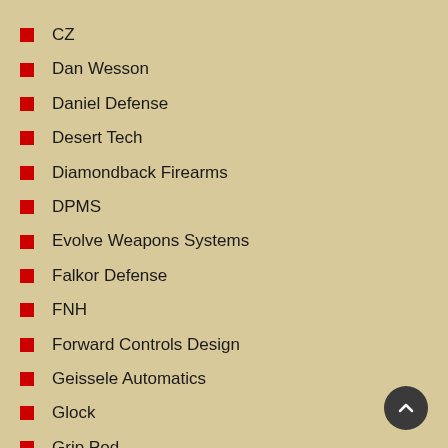CZ
Dan Wesson
Daniel Defense
Desert Tech
Diamondback Firearms
DPMS
Evolve Weapons Systems
Falkor Defense
FNH
Forward Controls Design
Geissele Automatics
Glock
Grip Pod